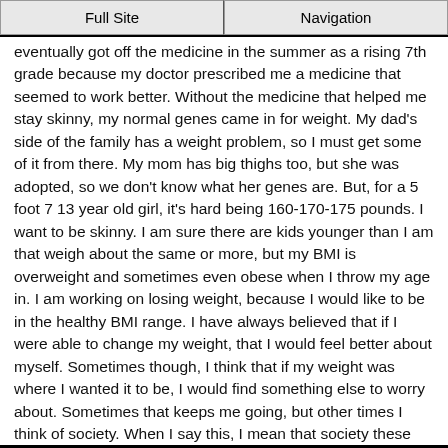Full Site | Navigation
eventually got off the medicine in the summer as a rising 7th grade because my doctor prescribed me a medicine that seemed to work better. Without the medicine that helped me stay skinny, my normal genes came in for weight. My dad's side of the family has a weight problem, so I must get some of it from there. My mom has big thighs too, but she was adopted, so we don't know what her genes are. But, for a 5 foot 7 13 year old girl, it's hard being 160-170-175 pounds. I want to be skinny. I am sure there are kids younger than I am that weigh about the same or more, but my BMI is overweight and sometimes even obese when I throw my age in. I am working on losing weight, because I would like to be in the healthy BMI range. I have always believed that if I were able to change my weight, that I would feel better about myself. Sometimes though, I think that if my weight was where I wanted it to be, I would find something else to worry about. Sometimes that keeps me going, but other times I think of society. When I say this, I mean that society these days has explained through the media how the perfect person should